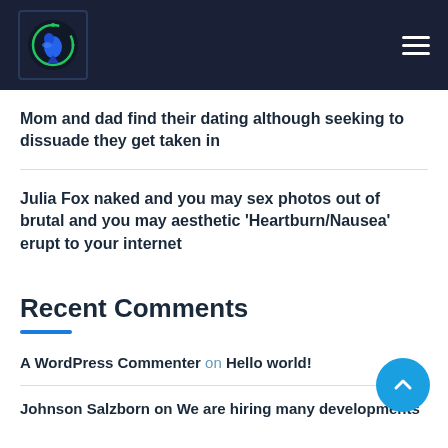[Figure (logo): Website logo with circular blue/green design on dark background]
Mom and dad find their dating although seeking to dissuade they get taken in
Julia Fox naked and you may sex photos out of brutal and you may aesthetic ‘Heartburn/Nausea’ erupt to your internet
Recent Comments
A WordPress Commenter on Hello world!
Johnson Salzborn on We are hiring many developers